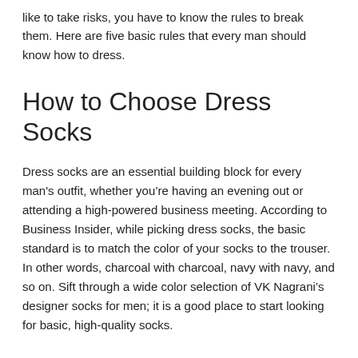like to take risks, you have to know the rules to break them. Here are five basic rules that every man should know how to dress.
How to Choose Dress Socks
Dress socks are an essential building block for every man's outfit, whether you’re having an evening out or attending a high-powered business meeting. According to Business Insider, while picking dress socks, the basic standard is to match the color of your socks to the trouser. In other words, charcoal with charcoal, navy with navy, and so on. Sift through a wide color selection of VK Nagrani’s designer socks for men; it is a good place to start looking for basic, high-quality socks.